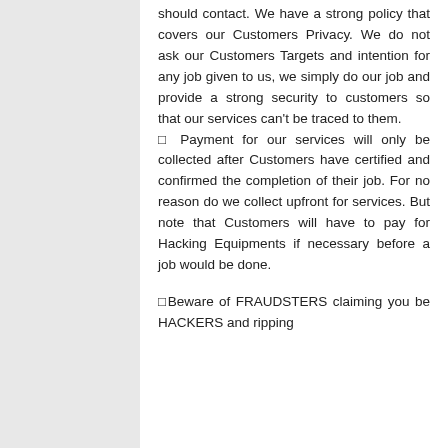should contact. We have a strong policy that covers our Customers Privacy. We do not ask our Customers Targets and intention for any job given to us, we simply do our job and provide a strong security to customers so that our services can't be traced to them.
⬜ Payment for our services will only be collected after Customers have certified and confirmed the completion of their job. For no reason do we collect upfront for services. But note that Customers will have to pay for Hacking Equipments if necessary before a job would be done.
⬜Beware of FRAUDSTERS claiming you be HACKERS and ripping